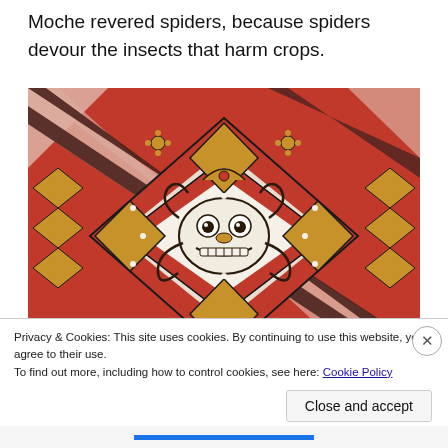Moche revered spiders, because spiders devour the insects that harm crops.
[Figure (photo): Moche ceramic or mural artwork showing intricate geometric diamond patterns in red, black, and gold/tan colors, with a central deity or spider-like face mask figure in a white diamond, surrounded by smaller decorative elements and geometric zigzag borders.]
Privacy & Cookies: This site uses cookies. By continuing to use this website, you agree to their use.
To find out more, including how to control cookies, see here: Cookie Policy
Close and accept